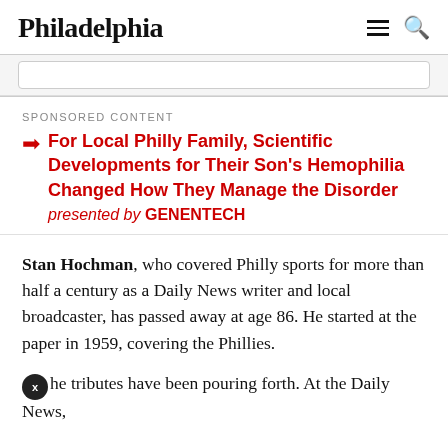Philadelphia
SPONSORED CONTENT
For Local Philly Family, Scientific Developments for Their Son's Hemophilia Changed How They Manage the Disorder presented by GENENTECH
Stan Hochman, who covered Philly sports for more than half a century as a Daily News writer and local broadcaster, has passed away at age 86. He started at the paper in 1959, covering the Phillies.
The tributes have been pouring forth. At the Daily News,